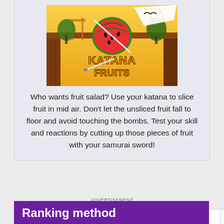[Figure (illustration): Katana Fruits game logo/banner showing a samurai-themed fruit ninja style game with a watermelon being sliced, on a yellow/orange background with Japanese temple scenery and the text KATANA FRUITS]
Who wants fruit salad? Use your katana to slice fruit in mid air. Don't let the unsliced fruit fall to floor and avoid touching the bombs. Test your skill and reactions by cutting up those pieces of fruit with your samurai sword!
ADVERTISEMENT
1  2  3  4  5  ...  7  >
Ranking method